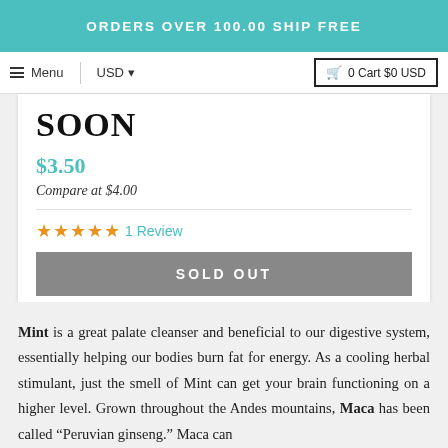ORDERS OVER 100.00 SHIP FREE
Menu  USD  0 Cart $0 USD
SOON
$3.50
Compare at $4.00
★★★★★ 1 Review
SOLD OUT
Mint is a great palate cleanser and beneficial to our digestive system, essentially helping our bodies burn fat for energy. As a cooling herbal stimulant, just the smell of Mint can get your brain functioning on a higher level. Grown throughout the Andes mountains, Maca has been called "Peruvian ginseng." Maca can